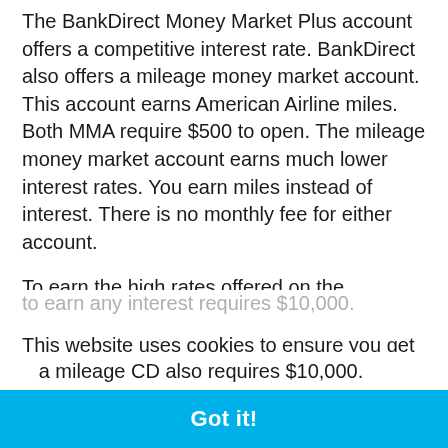The BankDirect Money Market Plus account offers a competitive interest rate. BankDirect also offers a mileage money market account. This account earns American Airline miles. Both MMA require $500 to open. The mileage money market account earns much lower interest rates. You earn miles instead of interest. There is no monthly fee for either account.
To earn the high rates offered on the BankDirect Money Market Plus account you must have $10,000 in the account. Amounts under $10,000 do not earn any interest. Only $500 is required to open this account, but to earn any interest requires $10,000.
This website uses cookies to ensure you get the best experience on our website.
Learn more
Got it!
a mileage CD also requires $10,000.